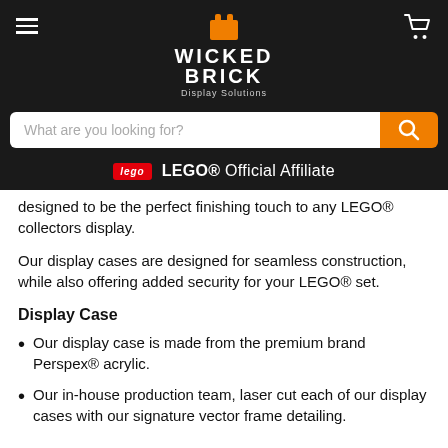Wicked Brick Display Solutions — LEGO® Official Affiliate
designed to be the perfect finishing touch to any LEGO® collectors display.
Our display cases are designed for seamless construction, while also offering added security for your LEGO® set.
Display Case
Our display case is made from the premium brand Perspex® acrylic.
Our in-house production team, laser cut each of our display cases with our signature vector frame detailing.